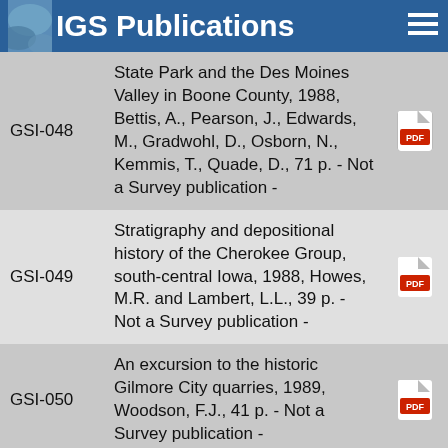IGS Publications
| ID | Description | Link |
| --- | --- | --- |
| GSI-048 | State Park and the Des Moines Valley in Boone County, 1988, Bettis, A., Pearson, J., Edwards, M., Gradwohl, D., Osborn, N., Kemmis, T., Quade, D., 71 p. - Not a Survey publication - | PDF |
| GSI-049 | Stratigraphy and depositional history of the Cherokee Group, south-central Iowa, 1988, Howes, M.R. and Lambert, L.L., 39 p. - Not a Survey publication - | PDF |
| GSI-050 | An excursion to the historic Gilmore City quarries, 1989, Woodson, F.J., 41 p. - Not a Survey publication - | PDF |
| GSI-051 | Geologic reconnaissance of the Coralville Lake area, 1989, Plocher, O.W., 121 p. - Not a Survey publication - | PDF |
|  | A.M.A.T.E.U.R. A Marmaton... |  |